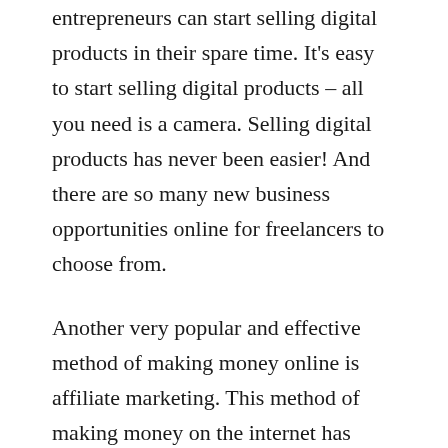entrepreneurs can start selling digital products in their spare time. It's easy to start selling digital products – all you need is a camera. Selling digital products has never been easier! And there are so many new business opportunities online for freelancers to choose from.
Another very popular and effective method of making money online is affiliate marketing. This method of making money on the internet has been around for years, but it's only now that people are really starting to realise its profitability potential. By using simple marketing strategies, you can set up a lucrative business opportunity for yourself. And because it's such a profitable business opportunity, there are countless numbers of people looking to make the most money